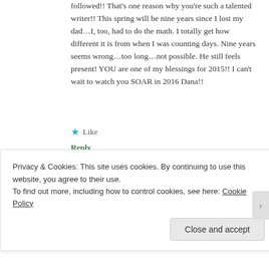followed!! That's one reason why you're such a talented writer!! This spring will be nine years since I lost my dad...I, too, had to do the math. I totally get how different it is from when I was counting days. Nine years seems wrong...too long...not possible. He still feels present! YOU are one of my blessings for 2015!! I can't wait to watch you SOAR in 2016 Dana!!
★ Like
Reply
[Figure (photo): Circular avatar photo of a woman with glasses]
Dana | December 31, 2015 at 11:12 pm
Privacy & Cookies: This site uses cookies. By continuing to use this website, you agree to their use.
To find out more, including how to control cookies, see here: Cookie Policy
Close and accept